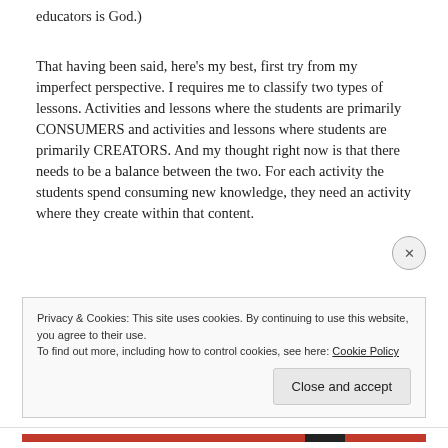educators is God.)
That having been said, here’s my best, first try from my imperfect perspective. I requires me to classify two types of lessons. Activities and lessons where the students are primarily CONSUMERS and activities and lessons where students are primarily CREATORS. And my thought right now is that there needs to be a balance between the two. For each activity the students spend consuming new knowledge, they need an activity where they create within that content.
Privacy & Cookies: This site uses cookies. By continuing to use this website, you agree to their use.
To find out more, including how to control cookies, see here: Cookie Policy
Close and accept